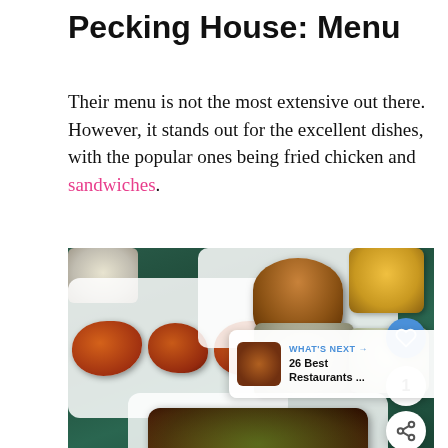Pecking House: Menu
Their menu is not the most extensive out there. However, it stands out for the excellent dishes, with the popular ones being fried chicken and sandwiches.
[Figure (photo): Overhead photo of Pecking House restaurant food spread on a dark green marble surface, showing trays of fried chicken, a burger sandwich, ribs with herbs, and various side cups/bowls. UI overlay elements include a heart/like button, share button, and a 'What's Next' card showing '26 Best Restaurants...']